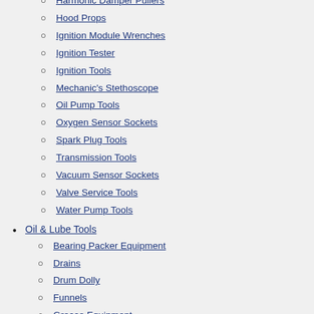Gas Evacuation Unit
Harmonic Damper Pullers
Hood Props
Ignition Module Wrenches
Ignition Tester
Ignition Tools
Mechanic's Stethoscope
Oil Pump Tools
Oxygen Sensor Sockets
Spark Plug Tools
Transmission Tools
Vacuum Sensor Sockets
Valve Service Tools
Water Pump Tools
Oil & Lube Tools
Bearing Packer Equipment
Drains
Drum Dolly
Funnels
Grease Equipment
Grease Pumps & Accessories
Hand Pumps
Lubrication Equipment - Miscellaneous
Oil Filter Removal
Oilers